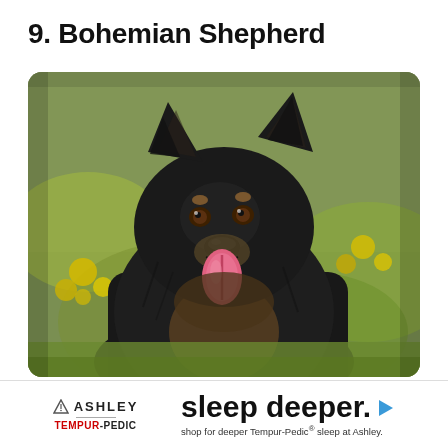9. Bohemian Shepherd
[Figure (photo): A black and tan Bohemian Shepherd dog sitting outdoors with tongue out, surrounded by green foliage and yellow flowers in the background]
[Figure (other): Ashley Furniture advertisement banner featuring Ashley logo with triangle icon, Tempur-Pedic co-branding, and text 'sleep deeper. shop for deeper Tempur-Pedic sleep at Ashley.']